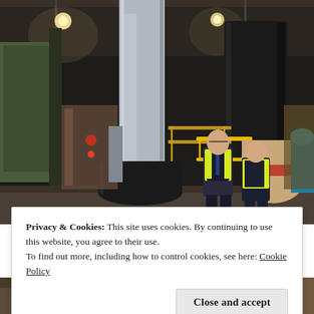[Figure (photo): Two men in high-visibility yellow vests standing inside an industrial warehouse/factory. Large cylindrical industrial equipment, scaffolding, and machinery visible in the background. The facility has high ceilings with overhead lighting. Cardboard rolls and wrapped pallets visible to the right.]
Privacy & Cookies: This site uses cookies. By continuing to use this website, you agree to their use.
To find out more, including how to control cookies, see here: Cookie Policy
Close and accept
[Figure (photo): Partial view of another outdoor or industrial scene at the bottom of the page, partially obscured by the cookie banner.]